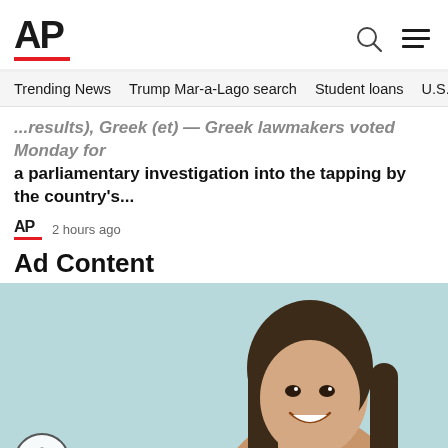AP
Trending News   Trump Mar-a-Lago search   Student loans   U.S.
...results), Greek (et) — Greek lawmakers voted Monday for a parliamentary investigation into the tapping by the country's...
AP  2 hours ago
Ad Content
[Figure (photo): Young woman smiling, holding a blue credit card and a smartphone, standing against a light blue/teal background. Accessibility icon in lower left corner.]